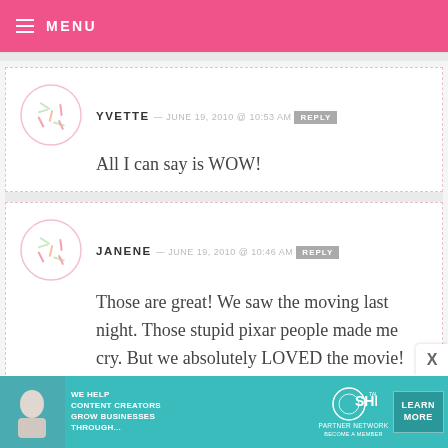MENU
YVETTE — JUNE 19, 2010 @ 10:53 AM REPLY
All I can say is WOW!
JANENE — JUNE 19, 2010 @ 10:46 AM REPLY
Those are great! We saw the moving last night. Those stupid pixar people made me cry. But we absolutely LOVED the movie!
[Figure (infographic): SHE Partner Network advertisement banner with text: WE HELP CONTENT CREATORS GROW BUSINESSES THROUGH... SHE PARTNER NETWORK BECOME A MEMBER, with LEARN MORE button]